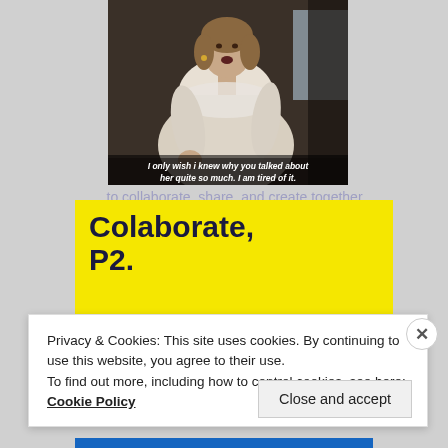[Figure (photo): A woman in a period costume (white lacy dress) sitting at a table, with a subtitle overlay reading: I only wish i knew why you talked about her quite so much. I am tired of it.]
Colaborate, P2.
Privacy & Cookies: This site uses cookies. By continuing to use this website, you agree to their use.
To find out more, including how to control cookies, see here: Cookie Policy
Close and accept